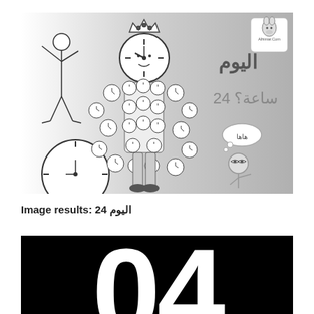[Figure (illustration): Cartoon illustration with a character whose head is a clock, wearing a suit covered in smaller clocks/alarm clocks, a crown on top. To the left a figure exercising, a large clock wheel. To the right on a grey gradient background, Arabic text reading 'اليوم' and '24 ساعة؟', a small cartoon character thinking 'هاها', and a donkey logo for 'Alhimar.Com'.]
Image results: 24 اليوم
[Figure (illustration): Black background with large white bold numbers '04' partially visible, cropped at bottom.]